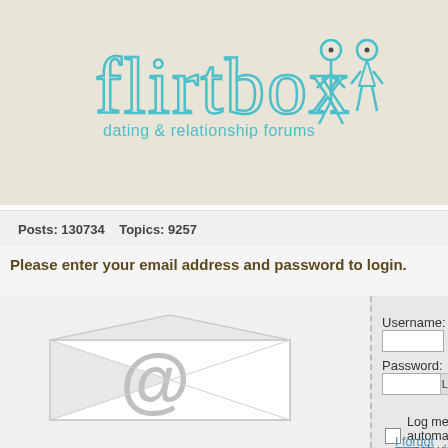[Figure (logo): Flirtbox dating & relationship forums logo with cyan/teal lettering and two person icons (male and female) on beige background]
Home
Posts: 130734   Topics: 9257
Please enter your email address and password to login.
[Figure (illustration): Email envelope icon with @ symbol overlay, gray and white tones]
Username:
Password:
Log me on automatically each visit:
I forgot my password